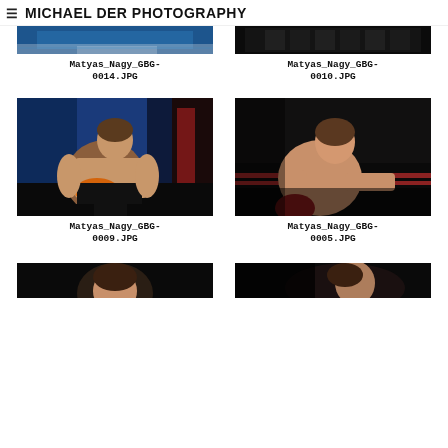MICHAEL DER PHOTOGRAPHY
[Figure (photo): Partially visible photo - Matyas_Nagy_GBG-0014.JPG, cropped at top, appears to show a sports/pool scene with blue water]
Matyas_Nagy_GBG-0014.JPG
[Figure (photo): Partially visible photo - Matyas_Nagy_GBG-0010.JPG, cropped at top, appears to show a boxing gym with nets/fencing in dark tones]
Matyas_Nagy_GBG-0010.JPG
[Figure (photo): Matyas_Nagy_GBG-0009.JPG - boxer sitting against blue wall wrapping orange hand wraps, shirtless, dark shorts]
Matyas_Nagy_GBG-0009.JPG
[Figure (photo): Matyas_Nagy_GBG-0005.JPG - boxer in boxing ring with red gloves, shirtless, bright spotlight from above in dark gym]
Matyas_Nagy_GBG-0005.JPG
[Figure (photo): Partially visible photo at bottom left - boxer partially visible, cut off]
[Figure (photo): Partially visible photo at bottom right - boxer profile silhouette, cut off]